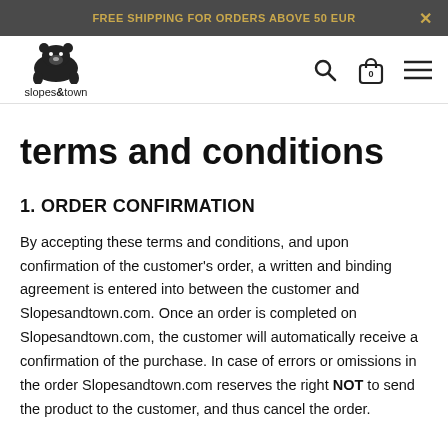FREE SHIPPING FOR ORDERS ABOVE 50 EUR
[Figure (logo): slopes&town bear logo with brand name]
terms and conditions
1. ORDER CONFIRMATION
By accepting these terms and conditions, and upon confirmation of the customer's order, a written and binding agreement is entered into between the customer and Slopesandtown.com. Once an order is completed on Slopesandtown.com, the customer will automatically receive a confirmation of the purchase. In case of errors or omissions in the order Slopesandtown.com reserves the right NOT to send the product to the customer, and thus cancel the order.